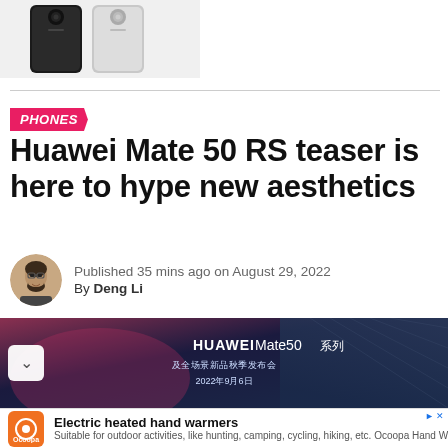[Figure (photo): Two Huawei smartphones shown side by side from the back]
PHONES
Huawei Mate 50 RS teaser is here to hype new aesthetics
Published 35 mins ago on August 29, 2022
By Deng Li
[Figure (photo): Huawei Mate 50 series product teaser image with text: HUAWEI Mate50 系列 及全场景新品秋季发布会 2022年9月6日]
[Figure (other): Advertisement for Ocoopa Electric heated hand warmers. Suitable for outdoor activities, like hunting, camping, cycling, hiking, etc. Ocoopa Hand Warmer. Learn More button.]